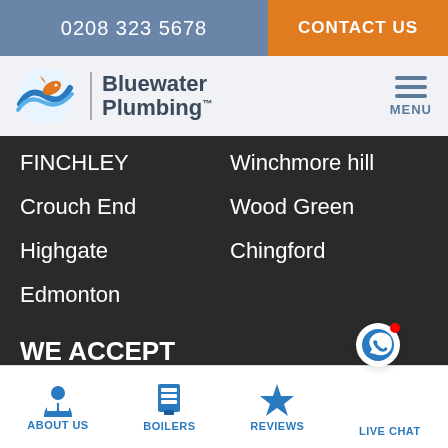0208 323 5678
CONTACT US
[Figure (logo): Bluewater Plumbing logo with wave and fish graphic]
MENU
FINCHLEY
Crouch End
Highgate
Edmonton
Winchmore hill
Wood Green
Chingford
WE ACCEPT
[Figure (other): Payment method icons: VISA, MasterCard, Cash]
ABOUT US
BOILERS
REVIEWS
LIVE CHAT